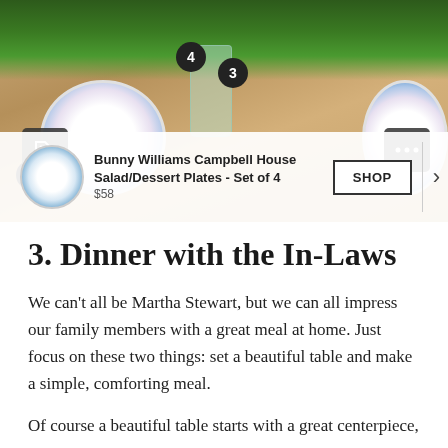[Figure (photo): A styled dining table scene photographed from above, showing decorative blue and white plates, green glassware, and lush greenery centerpieces on a wood table. Numbered badges (3, 4) and a product callout overlay are visible, showing a Bunny Williams Campbell House Salad/Dessert Plates set with a SHOP button.]
3. Dinner with the In-Laws
We can't all be Martha Stewart, but we can all impress our family members with a great meal at home. Just focus on these two things: set a beautiful table and make a simple, comforting meal.
Of course a beautiful table starts with a great centerpiece,